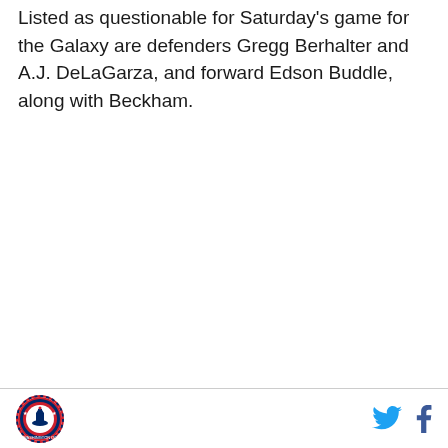Listed as questionable for Saturday's game for the Galaxy are defenders Gregg Berhalter and A.J. DeLaGarza, and forward Edson Buddle, along with Beckham.
Washington DC logo | Twitter icon | Facebook icon